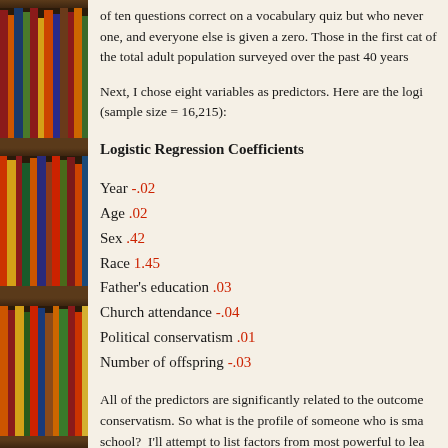[Figure (photo): Bookshelf with colorful books arranged on wooden shelves, visible on the left side of the page.]
of ten questions correct on a vocabulary quiz but who never one, and everyone else is given a zero. Those in the first cat of the total adult population surveyed over the past 40 years
Next, I chose eight variables as predictors. Here are the logi (sample size = 16,215):
Logistic Regression Coefficients
Year -.02
Age .02
Sex .42
Race 1.45
Father's education .03
Church attendance -.04
Political conservatism .01
Number of offspring -.03
All of the predictors are significantly related to the outcome conservatism. So what is the profile of someone who is sma school?  I'll attempt to list factors from most powerful to lea